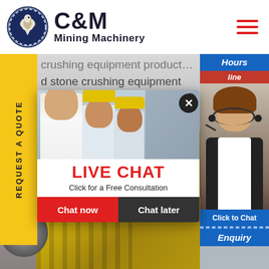[Figure (logo): C&M Mining Machinery logo with eagle in gear circle emblem, navy blue and black text]
crushing equipment products from 616 trustworthy stone crushing equipment suppliers on Alibaba reach out to suppliers directly and ask for the best price
[Figure (photo): Yellow jaw crusher mining machinery equipment in foreground, industrial setting]
[Figure (screenshot): Live Chat popup overlay with workers in yellow helmets, LIVE CHAT heading in red, Chat now and Chat later buttons]
[Figure (photo): Customer service representative with headset on right panel with Click to Chat button and Enquiry text]